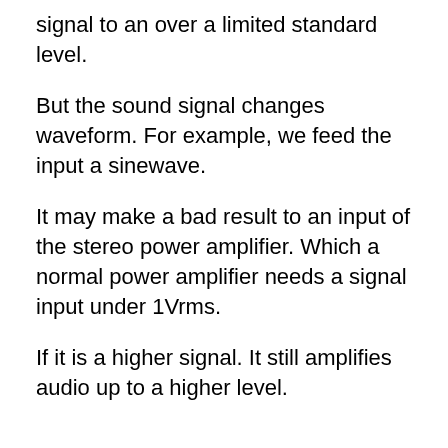signal to an over a limited standard level.
But the sound signal changes waveform. For example, we feed the input a sinewave.
It may make a bad result to an input of the stereo power amplifier. Which a normal power amplifier needs a signal input under 1Vrms.
If it is a higher signal. It still amplifies audio up to a higher level.